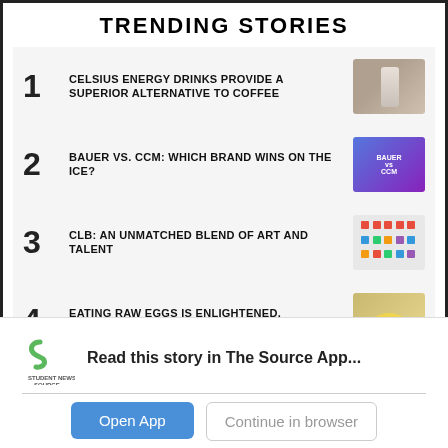TRENDING STORIES
1 CELSIUS ENERGY DRINKS PROVIDE A SUPERIOR ALTERNATIVE TO COFFEE
2 BAUER VS. CCM: WHICH BRAND WINS ON THE ICE?
3 CLB: AN UNMATCHED BLEND OF ART AND TALENT
4 EATING RAW EGGS IS ENLIGHTENED, NUTRITIOUS, AND RESPONSIBLE
Read this story in The Source App...
Open App
Continue in browser